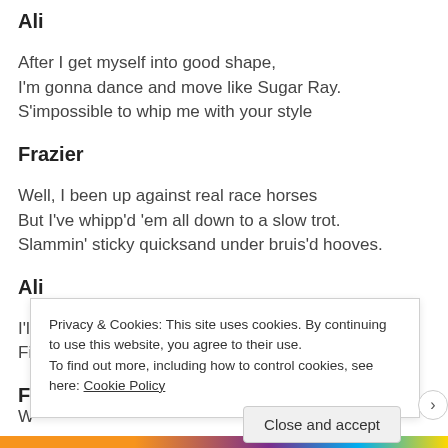Ali
After I get myself into good shape,
I'm gonna dance and move like Sugar Ray.
S'impossible to whip me with your style
Frazier
Well, I been up against real race horses
But I've whipp'd 'em all down to a slow trot.
Slammin' sticky quicksand under bruis'd hooves.
Ali
I'll admit you good, but I'm the fastest
Fist in the history of the whole world.
Privacy & Cookies: This site uses cookies. By continuing to use this website, you agree to their use.
To find out more, including how to control cookies, see here: Cookie Policy
Close and accept